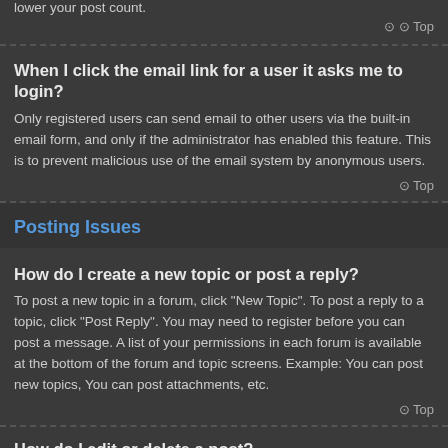lower your post count.
⊙ Top
When I click the email link for a user it asks me to login?
Only registered users can send email to other users via the built-in email form, and only if the administrator has enabled this feature. This is to prevent malicious use of the email system by anonymous users.
⊙ Top
Posting Issues
How do I create a new topic or post a reply?
To post a new topic in a forum, click "New Topic". To post a reply to a topic, click "Post Reply". You may need to register before you can post a message. A list of your permissions in each forum is available at the bottom of the forum and topic screens. Example: You can post new topics, You can post attachments, etc.
⊙ Top
How do I edit or delete a post?
Unless you are a board administrator or moderator, you can only edit or delete your own posts. You can edit a post by clicking the edit button for the relevant post, sometimes for only a limited time after the post was made. If someone has already replied to the post, you will find a small